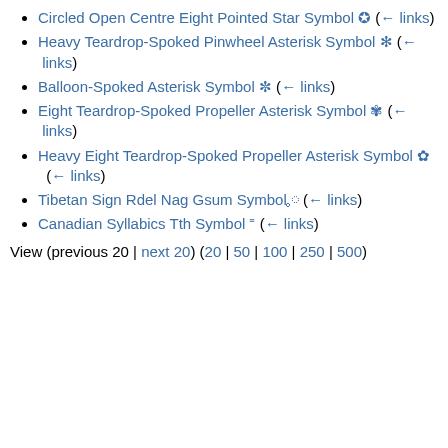Circled Open Centre Eight Pointed Star Symbol ✪ (← links)
Heavy Teardrop-Spoked Pinwheel Asterisk Symbol ✻ (← links)
Balloon-Spoked Asterisk Symbol ✼ (← links)
Eight Teardrop-Spoked Propeller Asterisk Symbol ✾ (← links)
Heavy Eight Teardrop-Spoked Propeller Asterisk Symbol ✿ (← links)
Tibetan Sign Rdel Nag Gsum Symbol ༷ (← links)
Canadian Syllabics Tth Symbol ᙾ (← links)
View (previous 20 | next 20) (20 | 50 | 100 | 250 | 500)